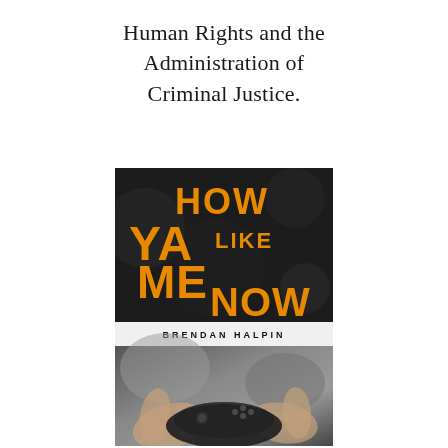Human Rights and the Administration of Criminal Justice.
[Figure (illustration): Book cover for 'How Ya Like Me Now' by Brendan Halpin. Top half shows bold orange text on dark background reading 'HOW YA LIKE ME NOW', with author name in white on a white band. Bottom half shows a close-up photo of hands holding a video game controller.]